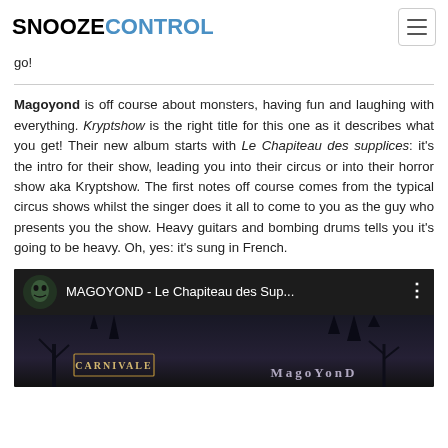SNOOZECONTROL
go!
Magoyond is off course about monsters, having fun and laughing with everything. Kryptshow is the right title for this one as it describes what you get! Their new album starts with Le Chapiteau des supplices: it's the intro for their show, leading you into their circus or into their horror show aka Kryptshow. The first notes off course comes from the typical circus shows whilst the singer does it all to come to you as the guy who presents you the show. Heavy guitars and bombing drums tells you it's going to be heavy. Oh, yes: it's sung in French.
[Figure (screenshot): YouTube video thumbnail for MAGOYOND - Le Chapiteau des Sup... showing a dark carnival/gothic scene with CARNIVALE text and MAGOYOND logo]